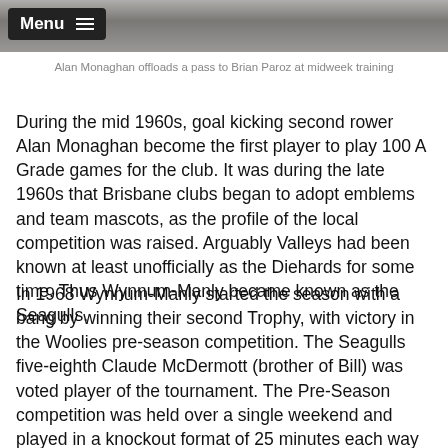[Figure (photo): Black and white photo strip showing players at training, Alan Monaghan offloading a pass to Brian Paroz at midweek training]
Alan Monaghan offloads a pass to Brian Paroz at midweek training
During the mid 1960s, goal kicking second rower Alan Monaghan become the first player to play 100 A Grade games for the club. It was during the late 1960s that Brisbane clubs began to adopt emblems and team mascots, as the profile of the local competition was raised. Arguably Valleys had been known at least unofficially as the Diehards for some time. Thus Wynnum-Manly became known as the Seagulls.
In 1968 Wynnum-Manly started the season with a bang by winning their second Trophy, with victory in the Woolies pre-season competition. The Seagulls five-eighth Claude McDermott (brother of Bill) was voted player of the tournament. The Pre-Season competition was held over a single weekend and played in a knockout format of 25 minutes each way games. In the final Wynnum-Manly defeated Valleys by 15 points to 2